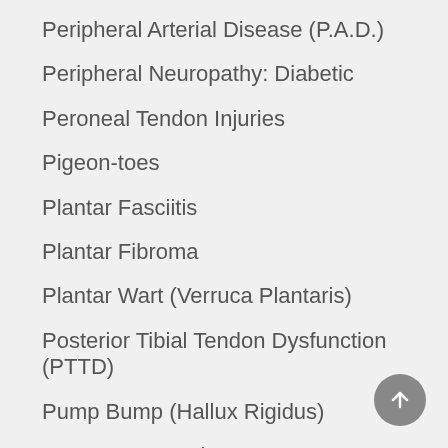Peripheral Arterial Disease (P.A.D.)
Peripheral Neuropathy: Diabetic
Peroneal Tendon Injuries
Pigeon-toes
Plantar Fasciitis
Plantar Fibroma
Plantar Wart (Verruca Plantaris)
Posterior Tibial Tendon Dysfunction (PTTD)
Pump Bump (Hallux Rigidus)
Puncture Wounds
Rash